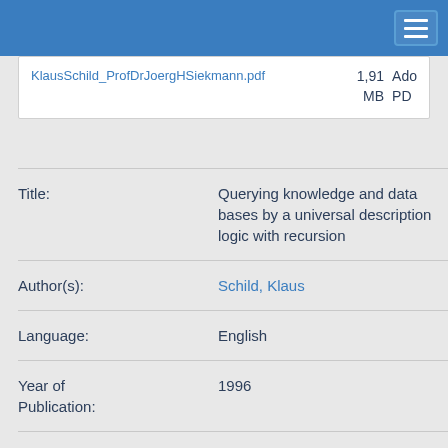| File | Size | Type |
| --- | --- | --- |
| KlausSchild_ProfDrJoergHSiekmann.pdf | 1,91 MB | Ado PDF |
| Field | Value |
| --- | --- |
| Title: | Querying knowledge and data bases by a universal description logic with recursion |
| Author(s): | Schild, Klaus |
| Language: | English |
| Year of Publication: | 1996 |
| SWD key words: | Terminologische Sprache |
| DDC notations: | 004 Computer science, internet |